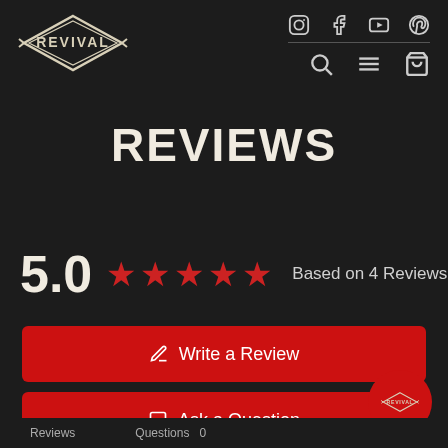[Figure (logo): Revival brand logo — diamond-shaped emblem with the word REVIVAL and decorative arrows, white outline on dark background]
[Figure (infographic): Navigation bar with social icons (Instagram, Facebook, YouTube, Pinterest) and action icons (search, menu, cart) on dark background]
REVIEWS
5.0 ★★★★★ Based on 4 Reviews
✎ Write a Review
💬 Ask a Question
[Figure (logo): Floating red circular button with Revival diamond logo]
Reviews  Questions  0